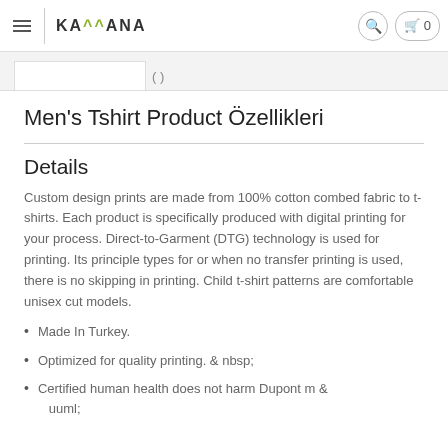KAMMANA
Men's Tshirt Product Özellikleri
Details
Custom design prints are made from 100% cotton combed fabric to t-shirts. Each product is specifically produced with digital printing for your process. Direct-to-Garment (DTG) technology is used for printing. Its principle types for or when no transfer printing is used, there is no skipping in printing. Child t-shirt patterns are comfortable unisex cut models.
Made In Turkey.
Optimized for quality printing. & nbsp;
Certified human health does not harm Dupont m & uuml;